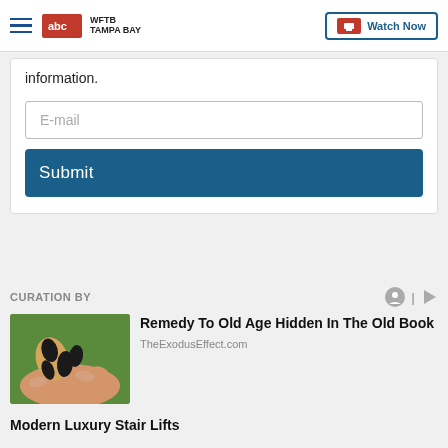WFTB TAMPA BAY — Watch Now
information.
E-mail
Submit
CURATION BY
Remedy To Old Age Hidden In The Old Book
TheExodusEffect.com
Modern Luxury Stair Lifts